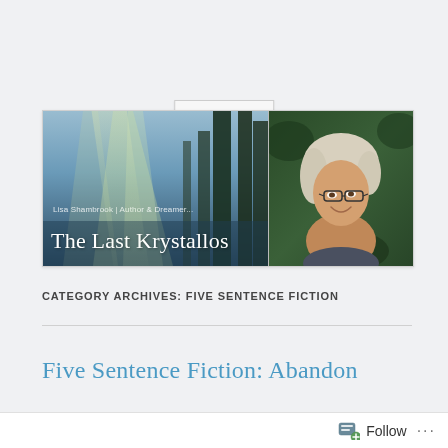Menu
[Figure (illustration): Blog banner for 'The Last Krystallos' by Lisa Shambrook. Left half shows a forest with light rays and text 'Lisa Shambrook | Author & Dreamer... The Last Krystallos'. Right half shows a photo of a woman with white/blonde hair and glasses smiling, against a green forest background.]
CATEGORY ARCHIVES: FIVE SENTENCE FICTION
Five Sentence Fiction: Abandon
Follow ...